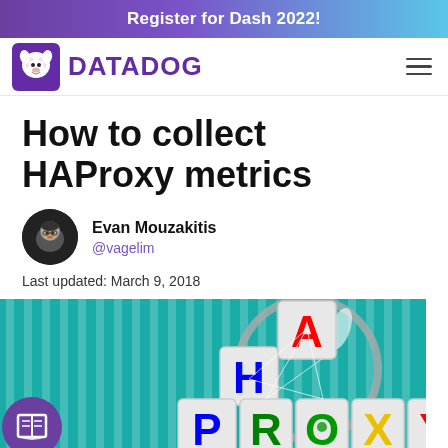Register for Dash 2022!
[Figure (logo): Datadog logo with dog mascot and DATADOG wordmark in purple]
How to collect HAProxy metrics
Evan Mouzakitis
@vagelim
Last updated: March 9, 2018
[Figure (illustration): Hero image showing colorful alphabet blocks spelling HAPROXY under a magnifying glass on a teal striped background, with a purple book icon circle in the lower left]